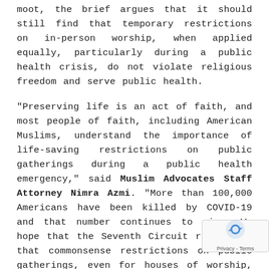moot, the brief argues that it should still find that temporary restrictions on in-person worship, when applied equally, particularly during a public health crisis, do not violate religious freedom and serve public health.
“Preserving life is an act of faith, and most people of faith, including American Muslims, understand the importance of life-saving restrictions on public gatherings during a public health emergency,” said Muslim Advocates Staff Attorney Nimra Azmi. “More than 100,000 Americans have been killed by COVID-19 and that number continues to rise. We hope that the Seventh Circuit recognizes that commonsense restrictions on public gatherings, even for houses of worship, during a deadly pandemic do not violate the Constitution, especially when applied equally to all religio…
Additional Resources